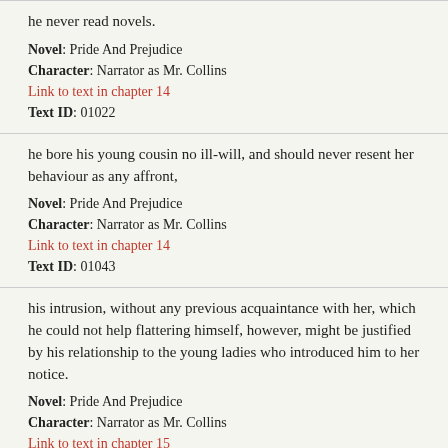he never read novels.
Novel: Pride And Prejudice
Character: Narrator as Mr. Collins
Link to text in chapter 14
Text ID: 01022
he bore his young cousin no ill-will, and should never resent her behaviour as any affront,
Novel: Pride And Prejudice
Character: Narrator as Mr. Collins
Link to text in chapter 14
Text ID: 01043
his intrusion, without any previous acquaintance with her, which he could not help flattering himself, however, might be justified by his relationship to the young ladies who introduced him to her notice.
Novel: Pride And Prejudice
Character: Narrator as Mr. Collins
Link to text in chapter 15
Text ID: 01084